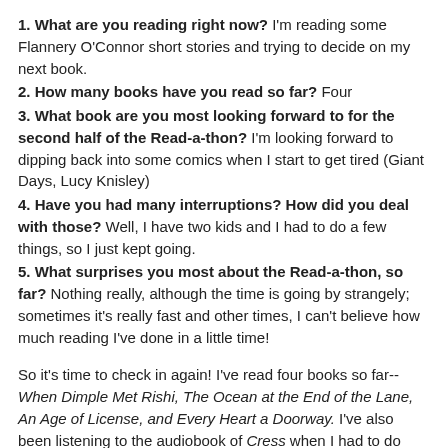1. What are you reading right now? I'm reading some Flannery O'Connor short stories and trying to decide on my next book.
2. How many books have you read so far? Four
3. What book are you most looking forward to for the second half of the Read-a-thon? I'm looking forward to dipping back into some comics when I start to get tired (Giant Days, Lucy Knisley)
4. Have you had many interruptions? How did you deal with those? Well, I have two kids and I had to do a few things, so I just kept going.
5. What surprises you most about the Read-a-thon, so far? Nothing really, although the time is going by strangely; sometimes it's really fast and other times, I can't believe how much reading I've done in a little time!
So it's time to check in again! I've read four books so far-- When Dimple Met Rishi, The Ocean at the End of the Lane, An Age of License, and Every Heart a Doorway. I've also been listening to the audiobook of Cress when I had to do some other things.